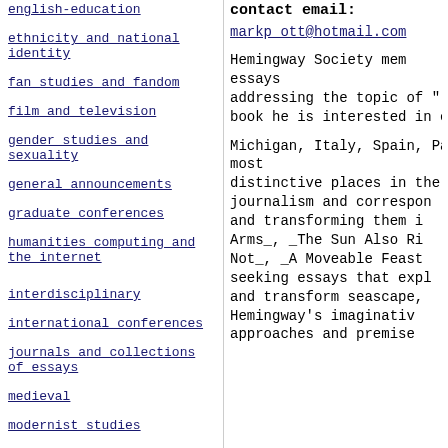english-education
ethnicity and national identity
fan studies and fandom
film and television
gender studies and sexuality
general announcements
graduate conferences
humanities computing and the internet
interdisciplinary
international conferences
journals and collections of essays
medieval
modernist studies
contact email:
markp_ott@hotmail.com
Hemingway Society mem essays addressing the topic of " book he is interested in e Michigan, Italy, Spain, Pa most distinctive places in the journalism and correspon and transforming them i Arms_, _The Sun Also Ri Not_, _A Moveable Feast seeking essays that expl and transform seascape, Hemingway's imaginativ approaches and premise